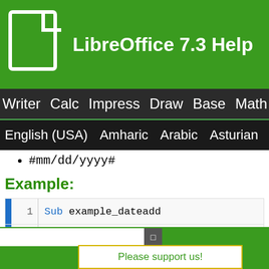LibreOffice 7.3 Help
Writer Calc Impress Draw Base Math C
English (USA) Amharic Arabic Asturian
#mm/dd/yyyy#
Example:
[Figure (screenshot): Code block showing: 1: Sub example_dateadd, 2: MsgBox DateAdd("m", 1, #1/31/200..., 3: End Sub]
Please support us!